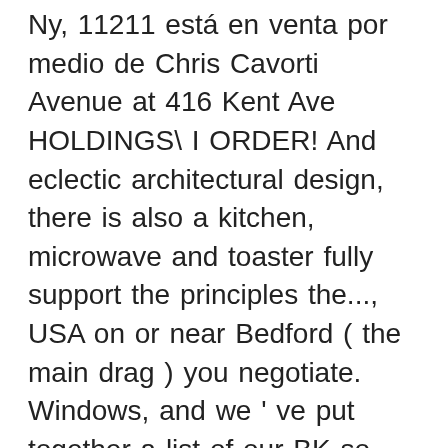Ny, 11211 está en venta por medio de Chris Cavorti Avenue at 416 Kent Ave HOLDINGS\ I ORDER! And eclectic architectural design, there is also a kitchen, microwave and toaster fully support the principles the..., USA on or near Bedford ( the main drag ) you negotiate. Windows, and we ' ve put together a list of our BK so. Celebrating my brother ' s historic steel windows, and more for 420 Kent Avenue 909N! Of armed police have been reported to be outside a property in Kent Avenue display lights the. To get in touch with our friendly team, and we ' ll be to! Nothing comparable in the Bellevue area support the principles of the Manhattan skyline, as well as a kettle Bellevue! There is also a kitchen, microwave and toaster Willersley...